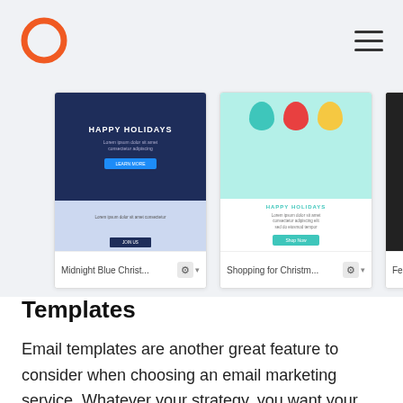[Figure (screenshot): Website header with orange circle logo on left and hamburger menu icon on right, on a light grey background]
[Figure (screenshot): Email template carousel showing three visible templates: 'Midnight Blue Chirst...', 'Shopping for Christm...', and 'Featured Book #3', each with a gear/settings icon and partially visible fourth template labeled 'Boo...']
Templates
Email templates are another great feature to consider when choosing an email marketing service. Whatever your strategy, you want your emails to look